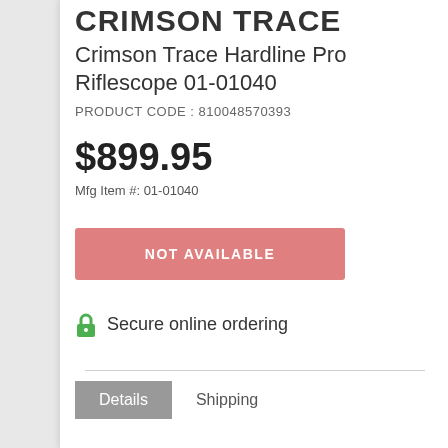CRIMSON TRACE
Crimson Trace Hardline Pro Riflescope 01-01040
PRODUCT CODE : 810048570393
$899.95
Mfg Item #: 01-01040
NOT AVAILABLE
Secure online ordering
Details
Shipping